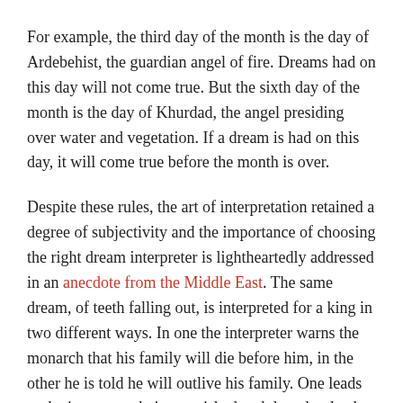For example, the third day of the month is the day of Ardebehist, the guardian angel of fire. Dreams had on this day will not come true. But the sixth day of the month is the day of Khurdad, the angel presiding over water and vegetation. If a dream is had on this day, it will come true before the month is over.
Despite these rules, the art of interpretation retained a degree of subjectivity and the importance of choosing the right dream interpreter is lightheartedly addressed in an anecdote from the Middle East. The same dream, of teeth falling out, is interpreted for a king in two different ways. In one the interpreter warns the monarch that his family will die before him, in the other he is told he will outlive his family. One leads to the interpreter being punished and the other leads to the interpreter being rewarded.
While dream interpretation may not be the career option it used to be, there is still evident interest in the topic.
Psychoanalysts like Freud and Jung have their followers in the